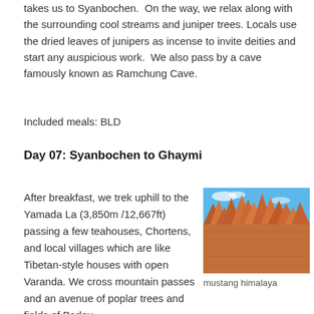takes us to Syanbochen.  On the way, we relax along with the surrounding cool streams and juniper trees. Locals use the dried leaves of junipers as incense to invite deities and start any auspicious work.  We also pass by a cave famously known as Ramchung Cave.
Included meals: BLD
Day 07: Syanbochen to Ghaymi
After breakfast, we trek uphill to the Yamada La (3,850m /12,667ft) passing a few teahouses, Chortens, and local villages which are like Tibetan-style houses with open Varanda. We cross mountain passes and an avenue of poplar trees and fields of Barley.
[Figure (photo): Photo of red and orange rocky mountain formations (Mustang Himalaya) against a blue sky with sparse clouds]
mustang himalaya